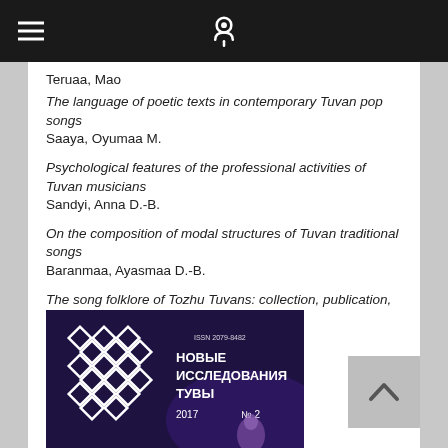Navigation bar with hamburger menu and site logo
Teruaa, Mao
The language of poetic texts in contemporary Tuvan pop songs
Saaya, Oyumaa M.
Psychological features of the professional activities of Tuvan musicians
Sandyi, Anna D.-B.
On the composition of modal structures of Tuvan traditional songs
Baranmaa, Ayasmaa D.-B.
The song folklore of Tozhu Tuvans: collection, publication, research
Tiron, Ekaterina L.
[Figure (photo): Book cover: Novye Issledovaniya Tuvy (New Research of Tuva), 2017, No. 2, with geometric diamond pattern logo on dark purple background]
[Figure (other): Scroll-to-top button with upward chevron arrow on grey background]